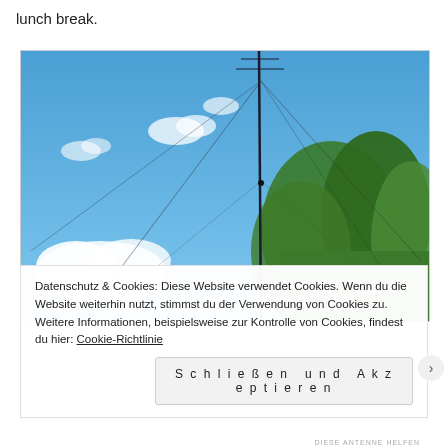lunch break.
[Figure (photo): A tall radio antenna or vertical mast photographed against a bright blue sky with scattered white clouds. Green trees are visible on the right side of the image.]
Datenschutz & Cookies: Diese Website verwendet Cookies. Wenn du die Website weiterhin nutzt, stimmst du der Verwendung von Cookies zu. Weitere Informationen, beispielsweise zur Kontrolle von Cookies, findest du hier: Cookie-Richtlinie
Schließen und Akzeptieren